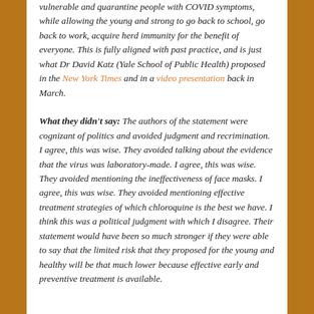vulnerable and quarantine people with COVID symptoms, while allowing the young and strong to go back to school, go back to work, acquire herd immunity for the benefit of everyone. This is fully aligned with past practice, and is just what Dr David Katz (Yale School of Public Health) proposed in the New York Times and in a video presentation back in March.
What they didn't say: The authors of the statement were cognizant of politics and avoided judgment and recrimination. I agree, this was wise. They avoided talking about the evidence that the virus was laboratory-made. I agree, this was wise. They avoided mentioning the ineffectiveness of face masks. I agree, this was wise. They avoided mentioning effective treatment strategies of which chloroquine is the best we have. I think this was a political judgment with which I disagree. Their statement would have been so much stronger if they were able to say that the limited risk that they proposed for the young and healthy will be that much lower because effective early and preventive treatment is available.